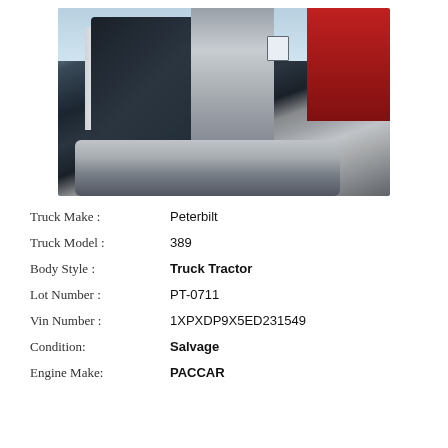[Figure (photo): Photograph of a Peterbilt 389 truck tractor (salvage), dark cab, chrome panels, fuel tanks visible, red truck in background, taken from side/rear angle outdoors.]
| Truck Make : | Peterbilt |
| Truck Model : | 389 |
| Body Style : | Truck Tractor |
| Lot Number : | PT-0711 |
| Vin Number : | 1XPXDP9X5ED231549 |
| Condition: | Salvage |
| Engine Make: | PACCAR |